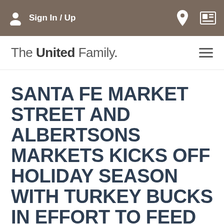Sign In / Up
[Figure (logo): The United Family. logo with hamburger menu icon]
SANTA FE MARKET STREET AND ALBERTSONS MARKETS KICKS OFF HOLIDAY SEASON WITH TURKEY BUCKS IN EFFORT TO FEED FAMILIES
Press Releases / October 28, 2019
(Santa Fe, New Mexico) – Albertsons Market and Market